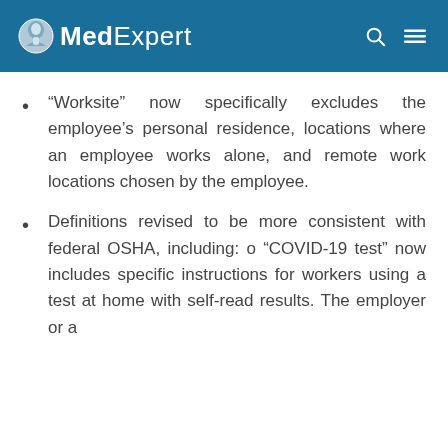MedExpert
“Worksite” now specifically excludes the employee’s personal residence, locations where an employee works alone, and remote work locations chosen by the employee.
Definitions revised to be more consistent with federal OSHA, including: o “COVID-19 test” now includes specific instructions for workers using a test at home with self-read results. The employer or a